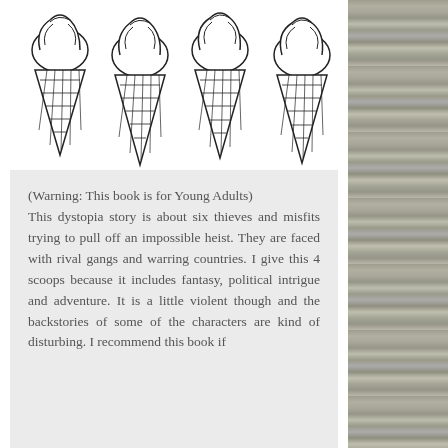[Figure (illustration): Four ice cream cones in a row drawn in black and white outline style, showing waffle cone crosshatch pattern with swirled soft-serve tops]
(Warning: This book is for Young Adults)
This dystopia story is about six thieves and misfits trying to pull off an impossible heist. They are faced with rival gangs and warring countries. I give this 4 scoops because it includes fantasy, political intrigue and adventure. It is a little violent though and the backstories of some of the characters are kind of disturbing. I recommend this book if